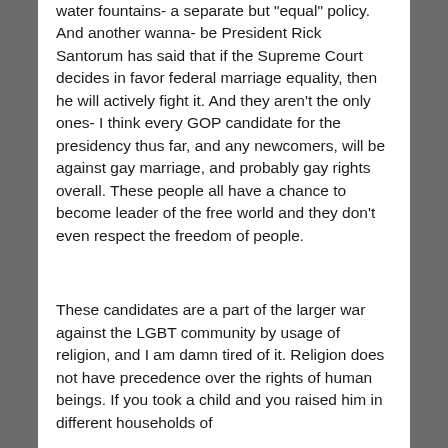water fountains- a separate but 'equal' policy. And another wanna- be President Rick Santorum has said that if the Supreme Court decides in favor federal marriage equality, then he will actively fight it. And they aren't the only ones- I think every GOP candidate for the presidency thus far, and any newcomers, will be against gay marriage, and probably gay rights overall. These people all have a chance to become leader of the free world and they don't even respect the freedom of people.
These candidates are a part of the larger war against the LGBT community by usage of religion, and I am damn tired of it. Religion does not have precedence over the rights of human beings. If you took a child and you raised him in different households of